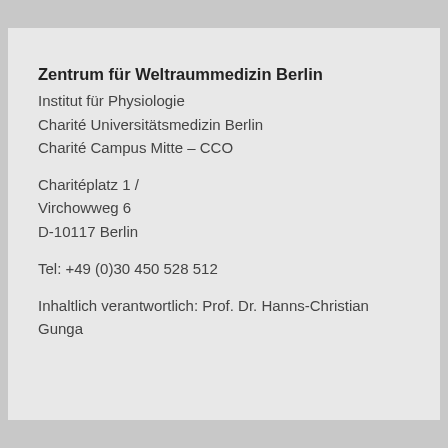Zentrum für Weltraummedizin Berlin
Institut für Physiologie
Charité Universitätsmedizin Berlin
Charité Campus Mitte – CCO
Charitéplatz 1  /
Virchowweg 6
D-10117 Berlin
Tel: +49 (0)30 450 528 512
Inhaltlich verantwortlich: Prof. Dr. Hanns-Christian Gunga